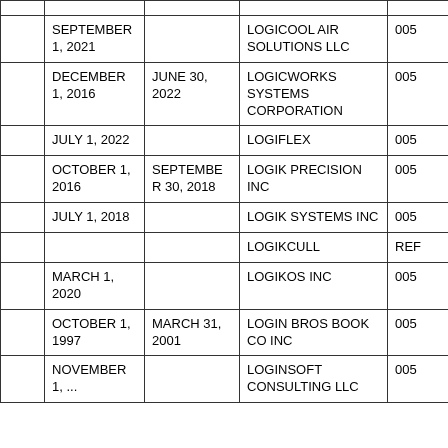|  | Start Date | End Date | Company Name | ID |
| --- | --- | --- | --- | --- |
|  |  |  |  |  |
|  | SEPTEMBER 1, 2021 |  | LOGICOOL AIR SOLUTIONS LLC | 005 |
|  | DECEMBER 1, 2016 | JUNE 30, 2022 | LOGICWORKS SYSTEMS CORPORATION | 005 |
|  | JULY 1, 2022 |  | LOGIFLEX | 005 |
|  | OCTOBER 1, 2016 | SEPTEMBER 30, 2018 | LOGIK PRECISION INC | 005 |
|  | JULY 1, 2018 |  | LOGIK SYSTEMS INC | 005 |
|  |  |  | LOGIKCULL | REF |
|  | MARCH 1, 2020 |  | LOGIKOS INC | 005 |
|  | OCTOBER 1, 1997 | MARCH 31, 2001 | LOGIN BROS BOOK CO INC | 005 |
|  | NOVEMBER 1, ... |  | LOGINSOFT CONSULTING LLC | 005 |